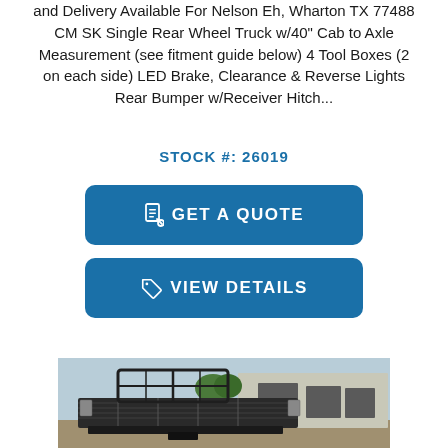and Delivery Available For Nelson Eh, Wharton TX 77488 CM SK Single Rear Wheel Truck w/40" Cab to Axle Measurement (see fitment guide below) 4 Tool Boxes (2 on each side) LED Brake, Clearance & Reverse Lights Rear Bumper w/Receiver Hitch...
STOCK #: 26019
[Figure (other): Blue button labeled GET A QUOTE with document icon]
[Figure (other): Blue button labeled VIEW DETAILS with tag icon]
[Figure (photo): Photo of a flatbed truck bed (CM SK model) viewed from the rear, showing the headache rack and flat steel bed, with a commercial building in the background]